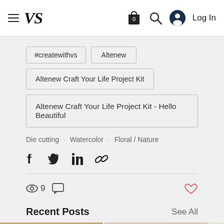VS - Log In
#createwithvs
Altenew
Altenew Craft Your Life Project Kit
Altenew Craft Your Life Project Kit - Hello Beautiful
Die cutting · Watercolor · Floral / Nature
[Figure (other): Social share icons: Facebook, Twitter, LinkedIn, Link]
9 views, comment icon, heart/like icon
Recent Posts
See All
[Figure (photo): Bottom image strip showing recent post thumbnails]